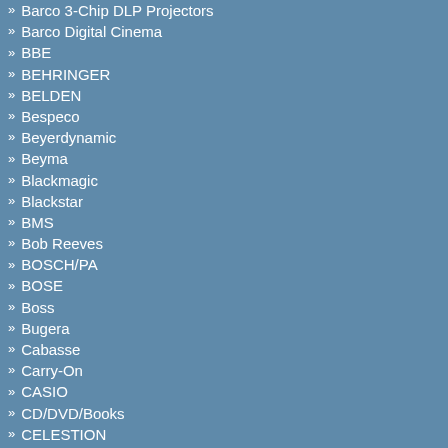Barco 3-Chip DLP Projectors
Barco Digital Cinema
BBE
BEHRINGER
BELDEN
Bespeco
Beyerdynamic
Beyma
Blackmagic
Blackstar
BMS
Bob Reeves
BOSCH/PA
BOSE
Boss
Bugera
Cabasse
Carry-On
CASIO
CD/DVD/Books
CELESTION
Cerwin-Vega Hi-Fi
Cerwin-Vega Pro!
CES
Charvel
CHAUVET DJ
Chauvet Professional
Chief
Clay Paky
Clearone
CME
Colorbo
CORDIAL